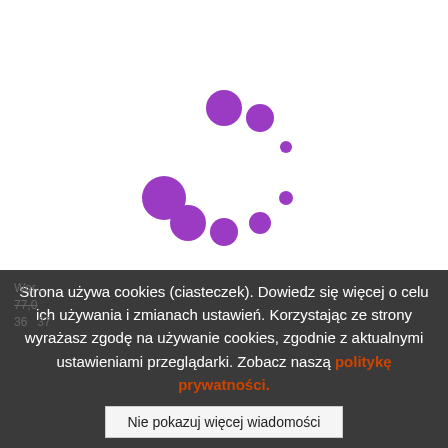[Figure (other): Purple loading spinner animation — a circular arrangement of purple dots of varying sizes, forming a clock-like loading indicator in the center of the white area.]
Strona używa cookies (ciasteczek). Dowiedz się więcej o celu ich używania i zmianach ustawień. Korzystając ze strony wyrażasz zgodę na używanie cookies, zgodnie z aktualnymi ustawieniami przeglądarki. Zobacz naszą politykę prywatności.
Nie pokazuj więcej wiadomości